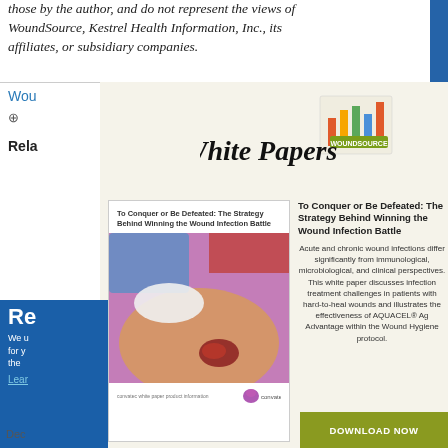those by the author, and do not represent the views of WoundSource, Kestrel Health Information, Inc., its affiliates, or subsidiary companies.
[Figure (logo): WoundSource White Papers logo with bar chart icon and paper graphic]
Wou
Rela
[Figure (photo): Book cover of 'To Conquer or Be Defeated: The Strategy Behind Winning the Wound Infection Battle' showing a wound on a leg, published by Convatec]
To Conquer or Be Defeated: The Strategy Behind Winning the Wound Infection Battle
Acute and chronic wound infections differ significantly from immunological, microbiological, and clinical perspectives. This white paper discusses infection treatment challenges in patients with hard-to-heal wounds and illustrates the effectiveness of AQUACEL® Ag Advantage within the Wound Hygiene protocol.
Re
We u for y the
Lear
Dec
DOWNLOAD NOW